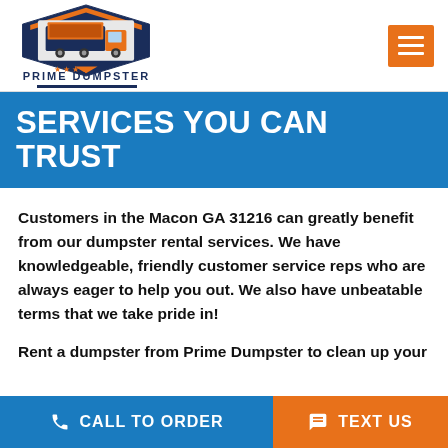[Figure (logo): Prime Dumpster logo with a truck illustration and company name in navy blue and orange]
SERVICES YOU CAN TRUST
Customers in the Macon GA 31216 can greatly benefit from our dumpster rental services. We have knowledgeable, friendly customer service reps who are always eager to help you out. We also have unbeatable terms that we take pride in!
Rent a dumpster from Prime Dumpster to clean up your
CALL TO ORDER   TEXT US